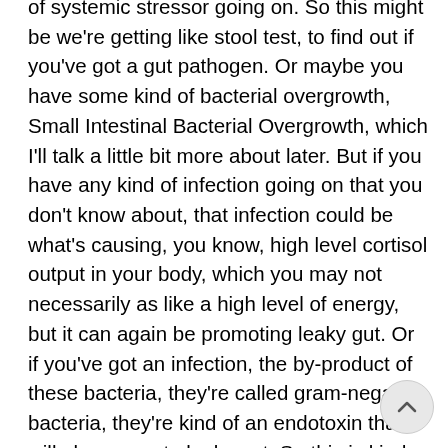of systemic stressor going on. So this might be we're getting like stool test, to find out if you've got a gut pathogen. Or maybe you have some kind of bacterial overgrowth, Small Intestinal Bacterial Overgrowth, which I'll talk a little bit more about later. But if you have any kind of infection going on that you don't know about, that infection could be what's causing, you know, high level cortisol output in your body, which you may not necessarily as like a high level of energy, but it can again be promoting leaky gut. Or if you've got an infection, the by-product of these bacteria, they're called gram-negative bacteria, they're kind of an endotoxin that will also promote leaky gut. So this is kind of like you're doing everything right, but there's something else inside that's causing this problem. It's really hard to get to the root of it without a lot of diagnostic testing and it's unfortunate that I can't just be like here, just you can do this on your own because you really can't.